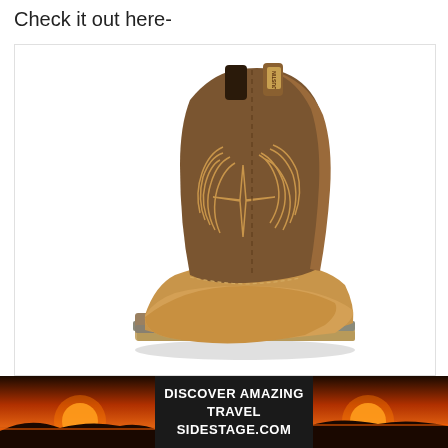Check it out here-
[Figure (photo): A brown leather cowboy/western work boot with decorative stitching on the shaft, square toe, and a rubber outsole. The boot is photographed on a white background.]
[Figure (infographic): Advertisement banner with a sunset background image on both sides and dark center panel reading 'DISCOVER AMAZING TRAVEL SIDESTAGE.COM' in white bold text.]